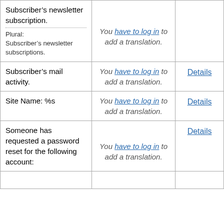| Source | Translation | Action |
| --- | --- | --- |
| Subscriber&#8217;s newsletter subscription.
Plural: Subscriber&#8217;s newsletter subscriptions. | You have to log in to add a translation. |  |
| Subscriber&#8217;s mail activity. | You have to log in to add a translation. | Details |
| Site Name: %s | You have to log in to add a translation. | Details |
| Someone has requested a password reset for the following account: | You have to log in to add a translation. | Details |
| ... | ... | Details |